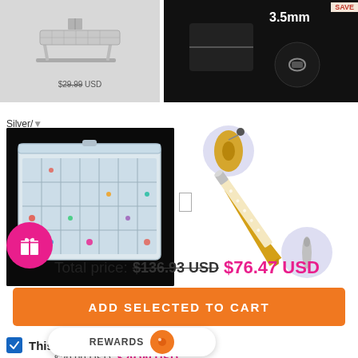[Figure (photo): Top-left: A4 Light Pad Stand product image on grey background]
$29.99 USD
[Figure (photo): Top-right: Product image on dark background showing 3.5mm connector detail]
[Figure (photo): Middle-left: Clear plastic organizer box with 28 compartments containing colorful beads/diamonds]
[Figure (photo): Middle-right: Dual-ended diamond painting pen with gold tip and silver metal tip on white background]
Total price: $136.93 USD $76.47 USD
ADD SELECTED TO CART
This item: A4 Light Pad Stand
$29.99 USD $29.99 USD
REWARDS